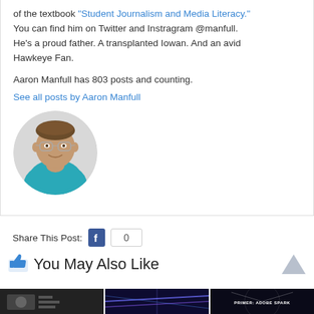of the textbook "Student Journalism and Media Literacy." You can find him on Twitter and Instragram @manfull. He's a proud father. A transplanted Iowan. And an avid Hawkeye Fan.
Aaron Manfull has 803 posts and counting.
See all posts by Aaron Manfull
[Figure (photo): Circular portrait photo of Aaron Manfull, a man wearing glasses and a teal/turquoise shirt, smiling.]
Share This Post:  0
You May Also Like
[Figure (photo): Three thumbnail images side by side at the bottom of the page. Left: dark screenshot with a person. Center: dark purple/blue abstract image. Right: dark image with text 'PRIMER: ADOBE SPARK'.]